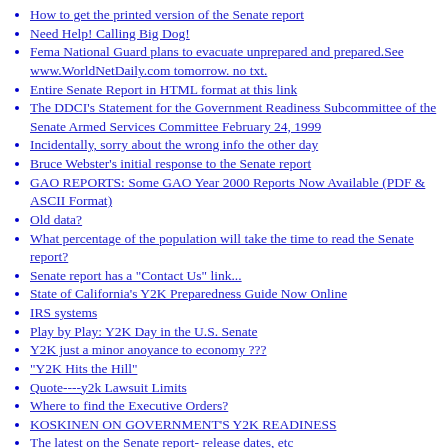How to get the printed version of the Senate report
Need Help! Calling Big Dog!
Fema National Guard plans to evacuate unprepared and prepared.See www.WorldNetDaily.com tomorrow. no txt.
Entire Senate Report in HTML format at this link
The DDCI's Statement for the Government Readiness Subcommittee of the Senate Armed Services Committee February 24, 1999
Incidentally, sorry about the wrong info the other day
Bruce Webster's initial response to the Senate report
GAO REPORTS: Some GAO Year 2000 Reports Now Available (PDF & ASCII Format)
Old data?
What percentage of the population will take the time to read the Senate report?
Senate report has a "Contact Us" link...
State of California's Y2K Preparedness Guide Now Online
IRS systems
Play by Play: Y2K Day in the U.S. Senate
Y2K just a minor anoyance to economy ???
"Y2K Hits the Hill"
Quote----y2k Lawsuit Limits
Where to find the Executive Orders?
KOSKINEN ON GOVERNMENT'S Y2K READINESS
The latest on the Senate report- release dates, etc